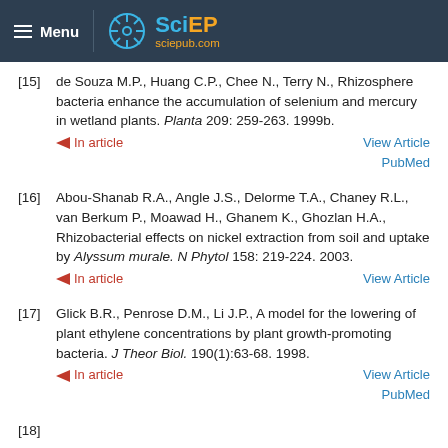Menu | SciEP sciepub.com
[15] de Souza M.P., Huang C.P., Chee N., Terry N., Rhizosphere bacteria enhance the accumulation of selenium and mercury in wetland plants. Planta 209: 259-263. 1999b.
[16] Abou-Shanab R.A., Angle J.S., Delorme T.A., Chaney R.L., van Berkum P., Moawad H., Ghanem K., Ghozlan H.A., Rhizobacterial effects on nickel extraction from soil and uptake by Alyssum murale. N Phytol 158: 219-224. 2003.
[17] Glick B.R., Penrose D.M., Li J.P., A model for the lowering of plant ethylene concentrations by plant growth-promoting bacteria. J Theor Biol. 190(1):63-68. 1998.
[18] ...